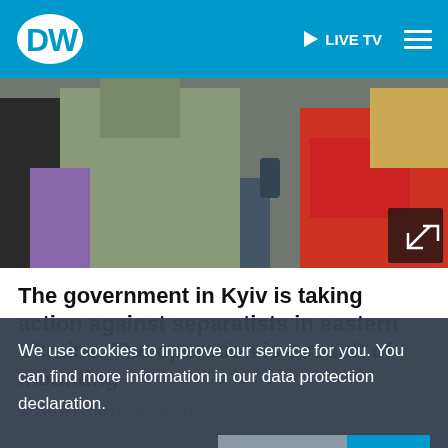DW | LIVE TV
[Figure (photo): People in winter jackets outdoors, one person in a red jacket, reporters with microphones visible.]
The government in Kyiv is taking action against separatists in eastern Ukraine. The operation is a result of mounting
We use cookies to improve our service for you. You can find more information in our data protection declaration.
The Ukrainian government… another military operation against pro-
More info  OK